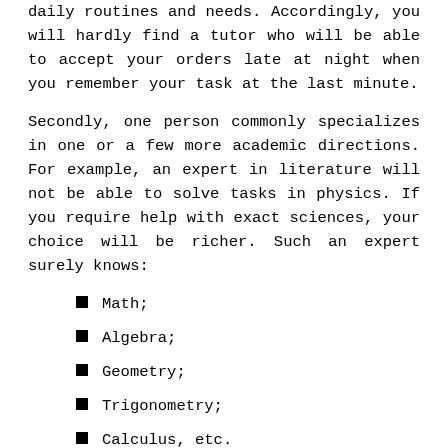daily routines and needs. Accordingly, you will hardly find a tutor who will be able to accept your orders late at night when you remember your task at the last minute.
Secondly, one person commonly specializes in one or a few more academic directions. For example, an expert in literature will not be able to solve tasks in physics. If you require help with exact sciences, your choice will be richer. Such an expert surely knows:
Math;
Algebra;
Geometry;
Trigonometry;
Calculus, etc.
Exact science experts commonly know computer science.